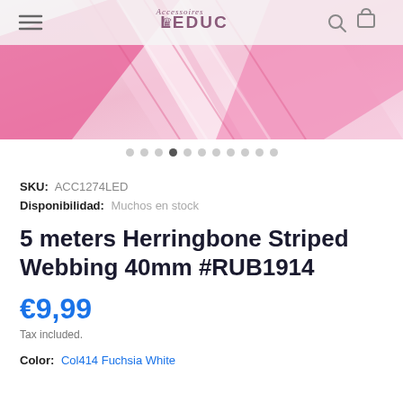[Figure (screenshot): E-commerce product page screenshot from Accessoires LEDUC showing herringbone striped webbing ribbon in pink/white colors. Navigation bar with hamburger menu, logo, search and cart icons visible at top. Product image shows pink and white striped ribbon.]
SKU: ACC1274LED
Disponibilidad: Muchos en stock
5 meters Herringbone Striped Webbing 40mm #RUB1914
€9,99
Tax included.
Color: Col414 Fuchsia White